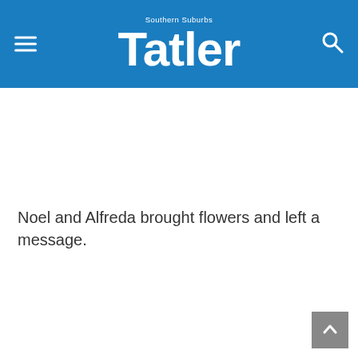Southern Suburbs Tatler
Noel and Alfreda brought flowers and left a message.